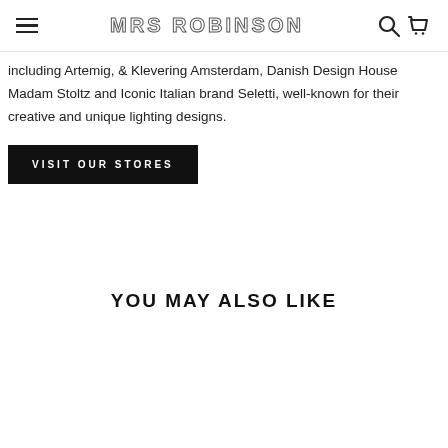MRS ROBINSON
including Artemig, & Klevering Amsterdam, Danish Design House Madam Stoltz and Iconic Italian brand Seletti, well-known for their creative and unique lighting designs.
VISIT OUR STORES
YOU MAY ALSO LIKE